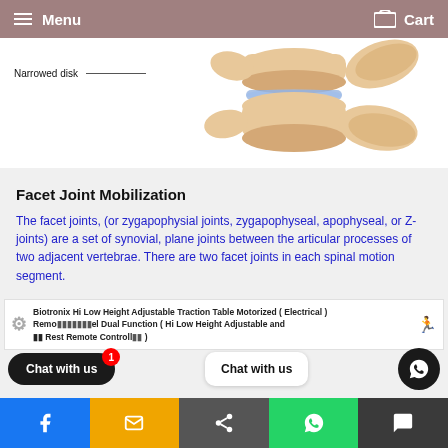Menu   Cart
[Figure (illustration): Medical illustration of spine vertebrae showing a narrowed disk with label 'Narrowed disk' and arrow pointing to the affected area. Bone-colored vertebrae shown from side view.]
Facet Joint Mobilization
The facet joints, (or zygapophysial joints, zygapophyseal, apophyseal, or Z-joints) are a set of synovial, plane joints between the articular processes of two adjacent vertebrae. There are two facet joints in each spinal motion segment.
[Figure (photo): Product image: Biotronix Hi Low Height Adjustable Traction Table Motorized (Electrical) Remote ... el Dual Function (Hi Low Height Adjustable and ... Rest Remote Controlled )]
Chat with us
Chat with us